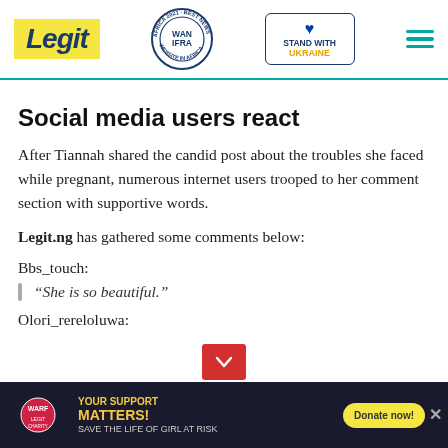Legit — WAN-IFRA 2021 Best News Website in Africa — Stand with Ukraine
Social media users react
After Tiannah shared the candid post about the troubles she faced while pregnant, numerous internet users trooped to her comment section with supportive words.
Legit.ng has gathered some comments below:
Bbs_touch:
“She is so beautiful.”
Olori_rereloluwa:
YOUR SUPPORT MATTERS! SAVE THE LIFE OF GIRL AT RISK — Donate now!